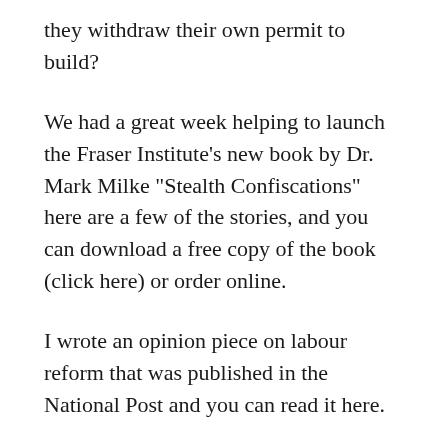they withdraw their own permit to build?
We had a great week helping to launch the Fraser Institute's new book by Dr. Mark Milke "Stealth Confiscations" here are a few of the stories, and you can download a free copy of the book (click here) or order online.
I wrote an opinion piece on labour reform that was published in the National Post and you can read it here.
In the coming week(s):
Looks like the marriage of convenience between